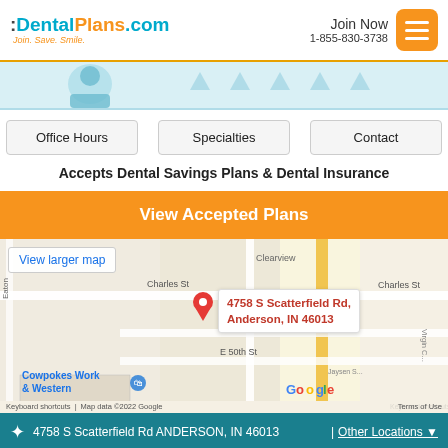DentalPlans.com — Join. Save. Smile. | Join Now 1-855-830-3738
[Figure (screenshot): Partial banner image showing a dental illustration and navigation arrows on a light blue background]
Office Hours | Specialties | Contact
Accepts Dental Savings Plans & Dental Insurance
View Accepted Plans
[Figure (map): Google Maps screenshot showing location at 4758 S Scatterfield Rd, Anderson, IN 46013. Streets visible include Charles St, E 49th St, E 50th St, Clearview, Eaton. Business 'Cowpokes Work & Western' visible. Map data ©2022 Google.]
4758 S Scatterfield Rd ANDERSON, IN 46013 | Other Locations